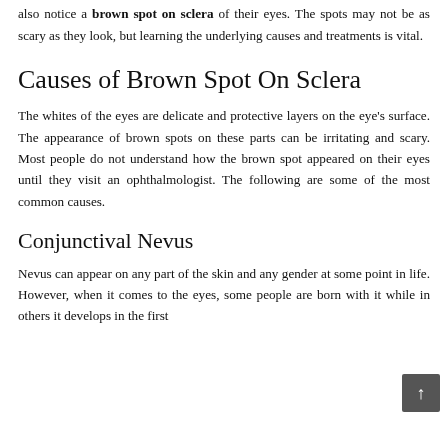differ from individual to individual due to skin pigmentation. Some people also notice a brown spot on sclera of their eyes. The spots may not be as scary as they look, but learning the underlying causes and treatments is vital.
Causes of Brown Spot On Sclera
The whites of the eyes are delicate and protective layers on the eye's surface. The appearance of brown spots on these parts can be irritating and scary. Most people do not understand how the brown spot appeared on their eyes until they visit an ophthalmologist. The following are some of the most common causes.
Conjunctival Nevus
Nevus can appear on any part of the skin and any gender at some point in life. However, when it comes to the eyes, some people are born with it while in others it develops in the first